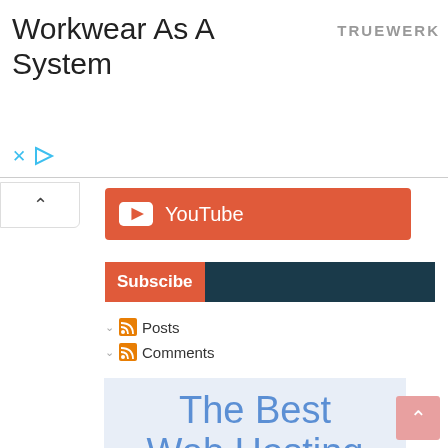Workkwear As A System
[Figure (logo): TRUEWERK brand logo in gray text]
[Figure (screenshot): Ad close (X) and play button icons]
[Figure (screenshot): Collapse/chevron up button]
[Figure (screenshot): YouTube red button with YouTube logo and text]
[Figure (screenshot): Subscribe bar: orange 'Subscibe' label and dark teal right section]
Posts
Comments
[Figure (screenshot): The Best Web Hosting only $2.95 /mo with Get Started green button on light blue background]
[Figure (screenshot): Pink back-to-top button with chevron]